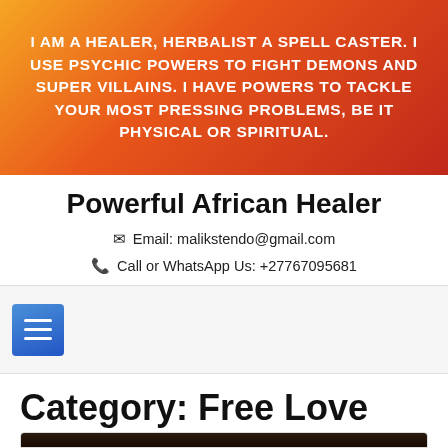I AM A HEALER, HERBALIST A SPELL CASTER. I USE PSYCHIC POWERS TO FIGHT DEMONS AND SUPER VILLAINS. I HAVE POWERS TO TACKLE YOUR MOST PRESSING PROBLEMS, BE IT PHYSICAL OR SPIRITUAL.
Powerful African Healer
Email: malikstendo@gmail.com
Call or WhatsApp Us: +27767095681
[Figure (other): Navigation hamburger menu button icon (three horizontal lines on blue gradient square)]
Category: Free Love Spells That Work For Real
[Figure (photo): Dark article thumbnail image at bottom of page]